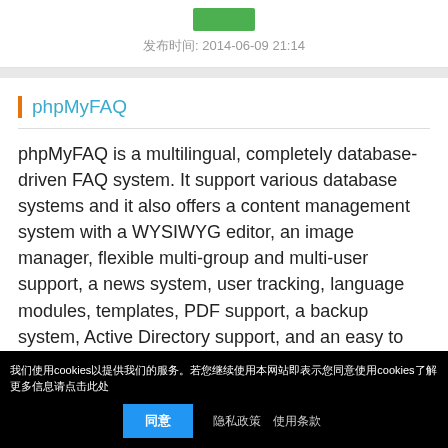2014-06-09 21:14
phpMyFAQ
phpMyFAQ is a multilingual, completely database-driven FAQ system. It support various database systems and it also offers a content management system with a WYSIWYG editor, an image manager, flexible multi-group and multi-user support, a news system, user tracking, language modules, templates, PDF support, a backup system, Active Directory support, and an easy to use installation script.
Detail info
我们使用cookies以提供我们的服务。若您继续使用本网站即表示您同意使用cookies了解更多信息请点击此处
同意  隐私政策 使用条款